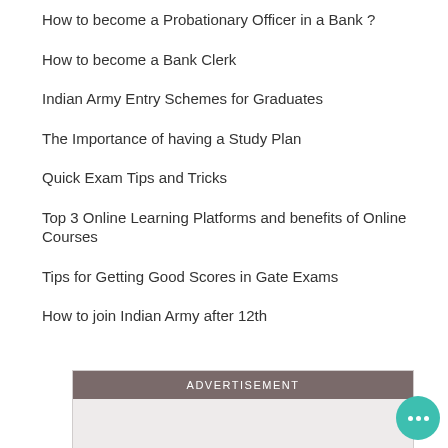How to become a Probationary Officer in a Bank ?
How to become a Bank Clerk
Indian Army Entry Schemes for Graduates
The Importance of having a Study Plan
Quick Exam Tips and Tricks
Top 3 Online Learning Platforms and benefits of Online Courses
Tips for Getting Good Scores in Gate Exams
How to join Indian Army after 12th
ADVERTISEMENT